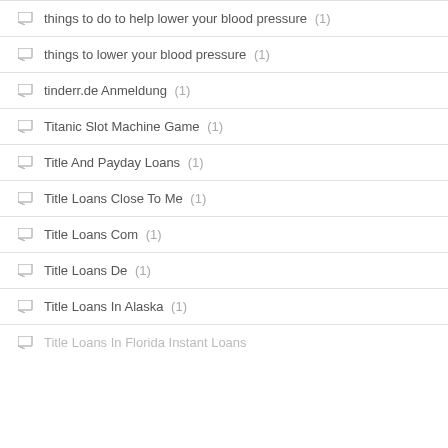things to do to help lower your blood pressure (1)
things to lower your blood pressure (1)
tinderr.de Anmeldung (1)
Titanic Slot Machine Game (1)
Title And Payday Loans (1)
Title Loans Close To Me (1)
Title Loans Com (1)
Title Loans De (1)
Title Loans In Alaska (1)
Title Loans In Florida Instant Loans (1)